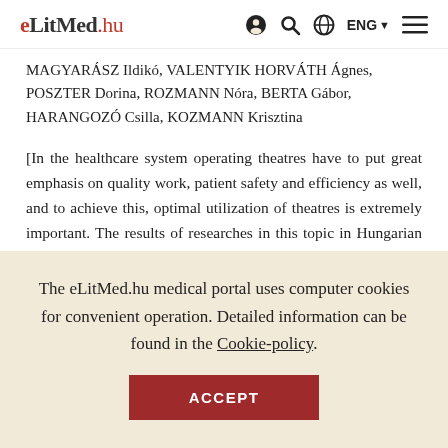eLitMed.hu — ENG navigation header
MAGYARÁSZ Ildikó, VALENTYIK HORVÁTH Ágnes, POSZTER Dorina, ROZMANN Nóra, BERTA Gábor, HARANGOZÓ Csilla, KOZMANN Krisztina
[In the healthcare system operating theatres have to put great emphasis on quality work, patient safety and efficiency as well, and to achieve this, optimal utilization of theatres is extremely important. The results of researches in this topic in Hungarian and international
The eLitMed.hu medical portal uses computer cookies for convenient operation. Detailed information can be found in the Cookie-policy.
ACCEPT